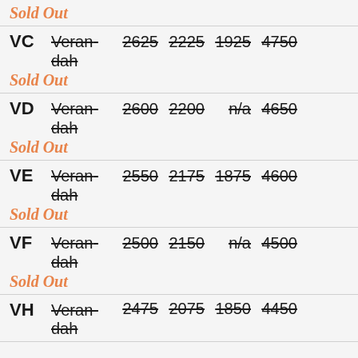| Code | Type | Price1 | Price2 | Price3 | Price4 |
| --- | --- | --- | --- | --- | --- |
| VC | Verandah | 2625 | 2225 | 1925 | 4750 |
| VD | Verandah | 2600 | 2200 | n/a | 4650 |
| VE | Verandah | 2550 | 2175 | 1875 | 4600 |
| VF | Verandah | 2500 | 2150 | n/a | 4500 |
| VH | Verandah | 2475 | 2075 | 1850 | 4450 |
Sold Out (repeated for each row)